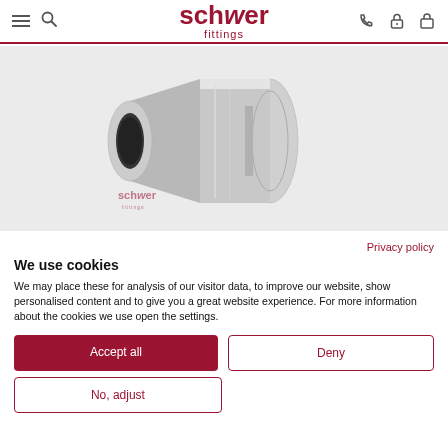[Figure (logo): Schwer Fittings logo with hamburger menu, search icon, phone icon, lock icon, and shopping bag icon in header]
[Figure (photo): Stainless steel pipe fitting / coupling product photo on light gray background with Schwer Fittings watermark]
Privacy policy
We use cookies
We may place these for analysis of our visitor data, to improve our website, show personalised content and to give you a great website experience. For more information about the cookies we use open the settings.
Accept all
Deny
No, adjust